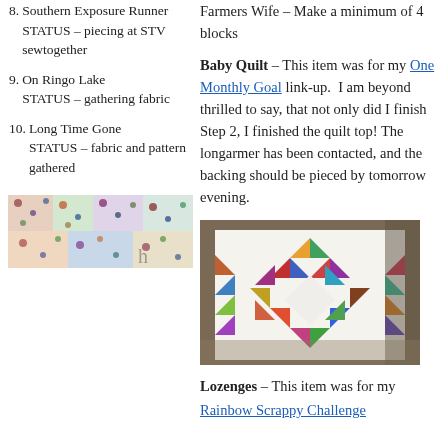8. Southern Exposure Runner STATUS – piecing at STV sewtogether
9. On Ringo Lake STATUS – gathering fabric
10. Long Time Gone STATUS – fabric and pattern gathered
Farmers Wife – Make a minimum of 4 blocks
Baby Quilt – This item was for my One Monthly Goal link-up. I am beyond thrilled to say, that not only did I finish Step 2, I finished the quilt top! The longarmer has been contacted, and the backing should be pieced by tomorrow evening.
[Figure (photo): Colorful patchwork quilt top laid on floor, featuring diamond/chevron pattern with multicolored triangular and rectangular patches on white background]
Lozenges – This item was for my Rainbow Scrappy Challenge